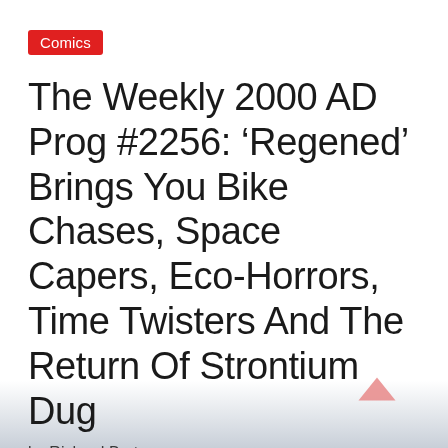Comics
The Weekly 2000 AD Prog #2256: ‘Regened’ Brings You Bike Chases, Space Capers, Eco-Horrors, Time Twisters And The Return Of Strontium Dug
by Richard Bruton